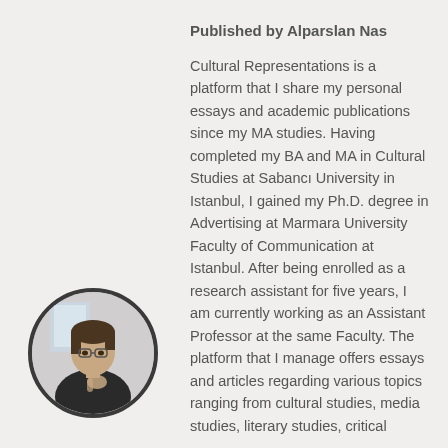Published by Alparslan Nas
[Figure (photo): Circular portrait photo of Alparslan Nas, a man in a dark jacket, sitting and gesturing with his hand near his chin]
Cultural Representations is a platform that I share my personal essays and academic publications since my MA studies. Having completed my BA and MA in Cultural Studies at Sabancı University in Istanbul, I gained my Ph.D. degree in Advertising at Marmara University Faculty of Communication at Istanbul. After being enrolled as a research assistant for five years, I am currently working as an Assistant Professor at the same Faculty. The platform that I manage offers essays and articles regarding various topics ranging from cultural studies, media studies, literary studies, critical